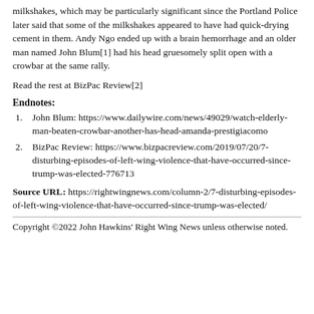milkshakes, which may be particularly significant since the Portland Police later said that some of the milkshakes appeared to have had quick-drying cement in them. Andy Ngo ended up with a brain hemorrhage and an older man named John Blum[1] had his head gruesomely split open with a crowbar at the same rally.
Read the rest at BizPac Review[2]
Endnotes:
John Blum: https://www.dailywire.com/news/49029/watch-elderly-man-beaten-crowbar-another-has-head-amanda-prestigiacomo
BizPac Review: https://www.bizpacreview.com/2019/07/20/7-disturbing-episodes-of-left-wing-violence-that-have-occurred-since-trump-was-elected-776713
Source URL: https://rightwingnews.com/column-2/7-disturbing-episodes-of-left-wing-violence-that-have-occurred-since-trump-was-elected/
Copyright ©2022 John Hawkins' Right Wing News unless otherwise noted.